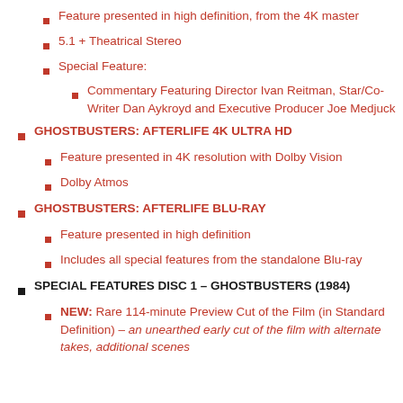Feature presented in high definition, from the 4K master
5.1 + Theatrical Stereo
Special Feature:
Commentary Featuring Director Ivan Reitman, Star/Co-Writer Dan Aykroyd and Executive Producer Joe Medjuck
GHOSTBUSTERS: AFTERLIFE 4K ULTRA HD
Feature presented in 4K resolution with Dolby Vision
Dolby Atmos
GHOSTBUSTERS: AFTERLIFE BLU-RAY
Feature presented in high definition
Includes all special features from the standalone Blu-ray
SPECIAL FEATURES DISC 1 – GHOSTBUSTERS (1984)
NEW: Rare 114-minute Preview Cut of the Film (in Standard Definition) – an unearthed early cut of the film with alternate takes, additional scenes